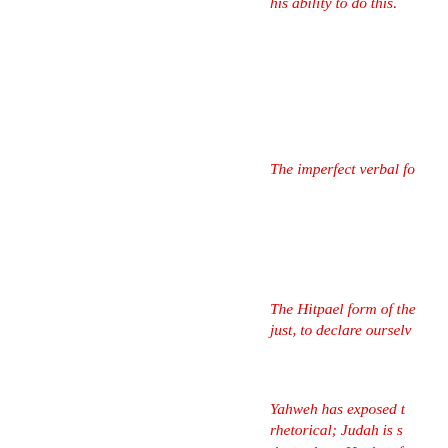his ability to do this.
The imperfect verbal fo
The Hitpael form of the just, to declare ourselv
Yahweh has exposed t rhetorical; Judah is s themselves. He therefo
The words "the rest of" and for stylistic reasons
"up" (reflecting directio to Egypt).